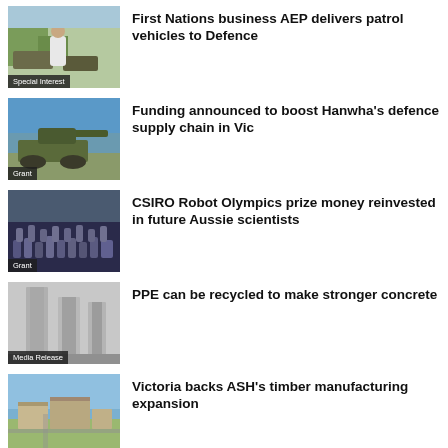[Figure (photo): Man in white shirt standing near military vehicles outdoors, label: Special Interest]
First Nations business AEP delivers patrol vehicles to Defence
[Figure (photo): Military self-propelled artillery vehicle in outdoor setting, label: Grant]
Funding announced to boost Hanwha's defence supply chain in Vic
[Figure (photo): Large group of people posing for a group photo, label: Grant]
CSIRO Robot Olympics prize money reinvested in future Aussie scientists
[Figure (photo): Concrete or stone column/pillar structures, label: Media Release]
PPE can be recycled to make stronger concrete
[Figure (photo): Aerial view of industrial/manufacturing facility and surrounding land]
Victoria backs ASH's timber manufacturing expansion